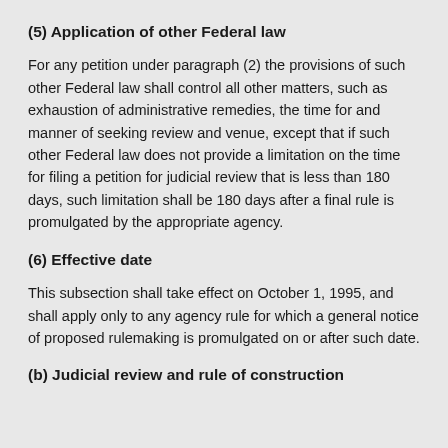(5) Application of other Federal law
For any petition under paragraph (2) the provisions of such other Federal law shall control all other matters, such as exhaustion of administrative remedies, the time for and manner of seeking review and venue, except that if such other Federal law does not provide a limitation on the time for filing a petition for judicial review that is less than 180 days, such limitation shall be 180 days after a final rule is promulgated by the appropriate agency.
(6) Effective date
This subsection shall take effect on October 1, 1995, and shall apply only to any agency rule for which a general notice of proposed rulemaking is promulgated on or after such date.
(b) Judicial review and rule of construction